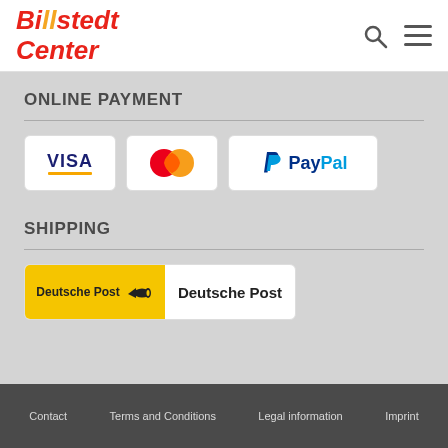[Figure (logo): Billstedt Center logo in red and orange text]
ONLINE PAYMENT
[Figure (logo): VISA payment logo]
[Figure (logo): Mastercard payment logo]
[Figure (logo): PayPal payment logo]
SHIPPING
[Figure (logo): Deutsche Post shipping logo]
Contact   Terms and Conditions   Legal information   Imprint